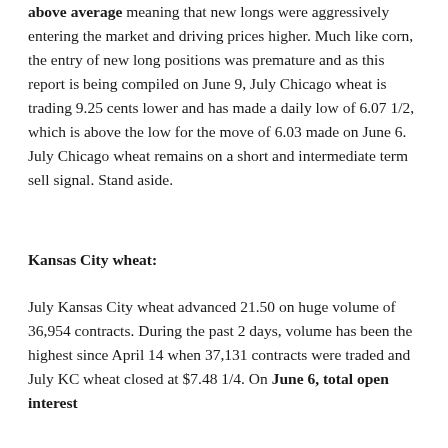above average meaning that new longs were aggressively entering the market and driving prices higher. Much like corn, the entry of new long positions was premature and as this report is being compiled on June 9, July Chicago wheat is trading 9.25 cents lower and has made a daily low of 6.07 1/2, which is above the low for the move of 6.03 made on June 6. July Chicago wheat remains on a short and intermediate term sell signal. Stand aside.
Kansas City wheat:
July Kansas City wheat advanced 21.50 on huge volume of 36,954 contracts. During the past 2 days, volume has been the highest since April 14 when 37,131 contracts were traded and July KC wheat closed at $7.48 1/4. On June 6, total open interest